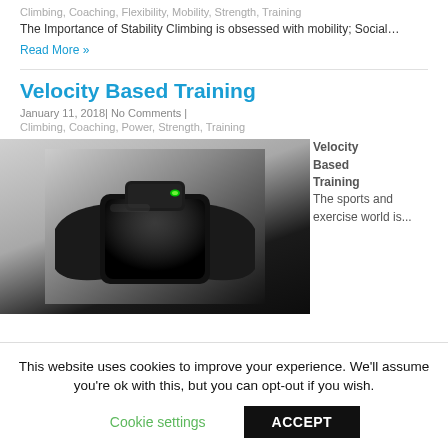Climbing, Coaching, Flexibility, Mobility, Strength, Training
The Importance of Stability Climbing is obsessed with mobility; Social…
Read More »
Velocity Based Training
January 11, 2018| No Comments |
Climbing, Coaching, Power, Strength, Training
[Figure (photo): A black wearable fitness/training device with a green LED indicator light, shown against a gradient dark background]
Velocity Based Training The sports and exercise world is...
This website uses cookies to improve your experience. We'll assume you're ok with this, but you can opt-out if you wish.
Cookie settings   ACCEPT